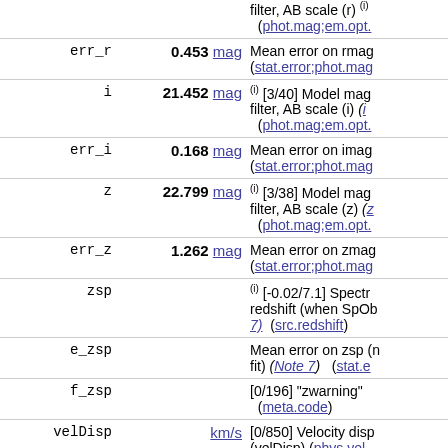| Name | Value | Description |
| --- | --- | --- |
| err_r | 0.453 mag | Mean error on rmag (stat.error;phot.mag... |
| i | 21.452 mag | (i) [3/40] Model mag filter, AB scale (i) (...phot.mag;em.opt.... |
| err_i | 0.168 mag | Mean error on imag (stat.error;phot.mag... |
| z | 22.799 mag | (i) [3/38] Model mag filter, AB scale (z) (...phot.mag;em.opt.... |
| err_z | 1.262 mag | Mean error on zmag (stat.error;phot.mag... |
| zsp |  | (i) [-0.02/7.1] Spectroscopic redshift (when SpOb... 7) (src.redshift) |
| e_zsp |  | Mean error on zsp (n... fit) (Note 7) (stat.e... |
| f_zsp |  | [0/196] "zwarning" (meta.code) |
| velDisp | km/s | [0/850] Velocity disp... (velDisp) (phys.vel... |